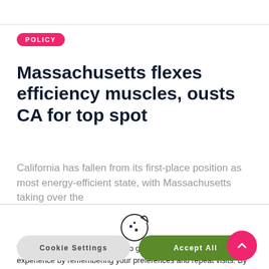POLICY
Massachusetts flexes efficiency muscles, ousts CA for top spot
California has fallen from its first-place position as most energy-efficient state, with Massachusetts taking over the
[Figure (illustration): Cookie icon — a circular cookie with bite taken out and three small dots]
We use cookies on our website to give you the most relevant experience by remembering your preferences and repeat visits. By clicking “Accept All”, you consent to the use of ALL the cookies. However, you may visit “Cookie Settings” to provi controlled consent.
Cookie Settings
Accept All